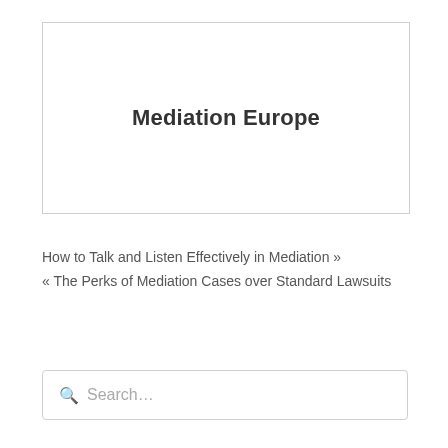[Figure (logo): Mediation Europe logo box with bold text centered in a bordered rectangle]
How to Talk and Listen Effectively in Mediation »
« The Perks of Mediation Cases over Standard Lawsuits
Search...